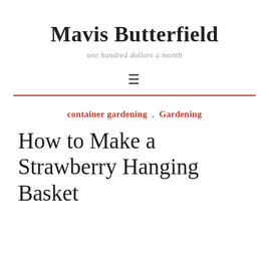Mavis Butterfield
one hundred dollars a month
≡
container gardening , Gardening
How to Make a Strawberry Hanging Basket